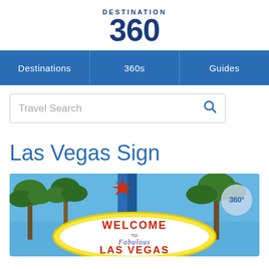[Figure (logo): Destination 360 logo — dark navy blue text, 'DESTINATION' in small caps above large bold '360']
[Figure (screenshot): Navigation bar with three tabs: Destinations, 360s, Guides on a blue background]
[Figure (screenshot): Travel Search input box with magnifying glass icon]
Las Vegas Sign
[Figure (photo): Photo of the Welcome to Fabulous Las Vegas sign with palm trees and blue sky, with a 360° badge overlay in the top right corner]